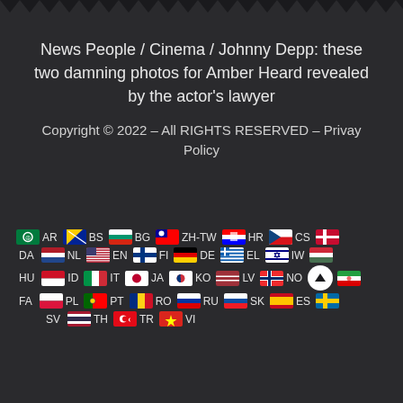News People / Cinema / Johnny Depp: these two damning photos for Amber Heard revealed by the actor's lawyer
Copyright © 2022 – All RIGHTS RESERVED – Privay Policy
[Figure (infographic): Grid of country flag icons with language codes: AR, BS, BG, ZH-TW, HR, CS, DA, NL, EN, FI, DE, EL, IW, HU, ID, IT, JA, KO, LV, NO, FA, PL, PT, RO, RU, SK, ES, SV, TH, TR, VI]